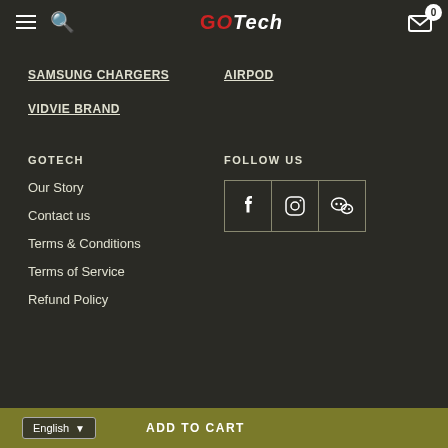GOTech navigation header with hamburger menu, search icon, GOTech logo, and cart with badge 0
SAMSUNG CHARGERS
AIRPOD
VIDVIE BRAND
GOTECH
FOLLOW US
Our Story
Contact us
Terms & Conditions
Terms of Service
Refund Policy
[Figure (infographic): Social media icons: Facebook (f), Instagram (camera), WeChat (speech bubbles) in bordered boxes]
English | ADD TO CART